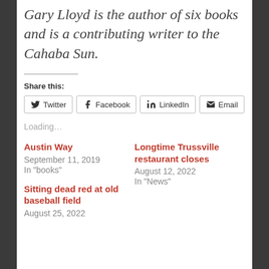Gary Lloyd is the author of six books and is a contributing writer to the Cahaba Sun.
Share this:
Twitter  Facebook  LinkedIn  Email
Loading…
Austin Way
September 11, 2019
In "books"
Longtime Trussville restaurant closes
August 12, 2022
In "News"
Sitting dead red at old baseball field
August 25, 2022